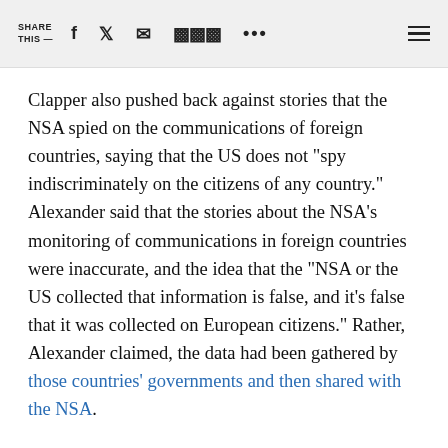SHARE THIS —
Clapper also pushed back against stories that the NSA spied on the communications of foreign countries, saying that the US does not "spy indiscriminately on the citizens of any country." Alexander said that the stories about the NSA's monitoring of communications in foreign countries were inaccurate, and the idea that the "NSA or the US collected that information is false, and it's false that it was collected on European citizens." Rather, Alexander claimed, the data had been gathered by those countries' governments and then shared with the NSA.
Later, however, Clapper insisted that it's not unusual for foreign countries, including ones with friendly relationships, to spy on each other's leaders. Clapper cited "Casablanca" in mocking the reactions to the news that the NSA had spied on communications in foreign